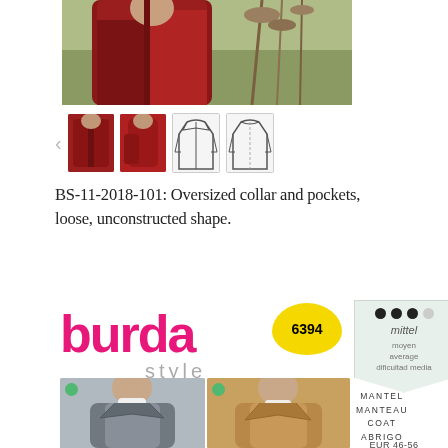[Figure (photo): Person wearing an oversized burgundy/dark red coat in a field with dried plants, top portion cropped]
[Figure (photo): Thumbnail gallery row with left arrow, two dark red coat photos and two outline technical sketches of the coat]
BS-11-2018-101: Oversized collar and pockets, loose, unconstructed shape.
[Figure (photo): Burda Style sewing pattern #6394 with logo, difficulty badge (mittel/moyen/average/dificultad media), and two models wearing coats]
MANTEL MANTEAU COAT ABRIGO
EUR 46-56